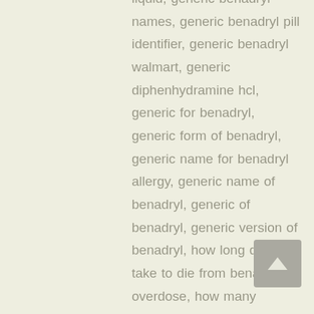liquid, generic benadryl names, generic benadryl pill identifier, generic benadryl walmart, generic diphenhydramine hcl, generic for benadryl, generic form of benadryl, generic name for benadryl allergy, generic name of benadryl, generic of benadryl, generic version of benadryl, how long does it take to die from benadryl overdose, how many benadryl to die, how much benadryl can i take, how much benadryl is fatal, injectable benadryl for sale,